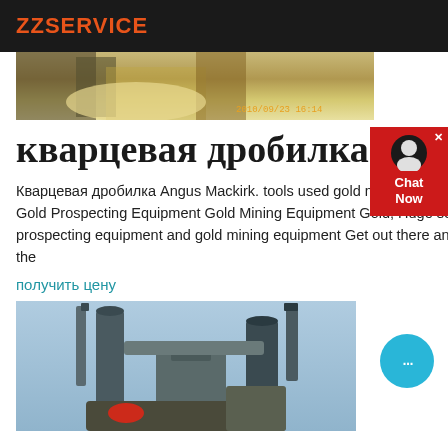ZZSERVICE
[Figure (photo): Top portion of a mining/construction site photo with machinery and sand/gravel, timestamp overlay '2010/09/23 16:14']
кварцевая дробилка
Кварцевая дробилка Angus Mackirk. tools used gold mining . tools used gold mining; Gold Prospecting Equipment Gold Mining Equipment Gold, Huge selection of gold prospecting equipment and gold mining equipment Get out there and get your share of the
получить цену
[Figure (photo): Industrial grinding/milling machinery with large cylindrical towers and dust collection equipment against a blue sky background]